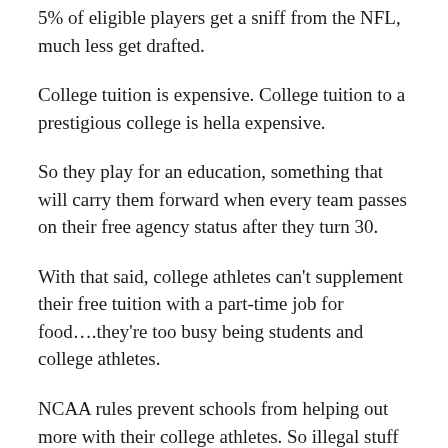5% of eligible players get a sniff from the NFL, much less get drafted.
College tuition is expensive. College tuition to a prestigious college is hella expensive.
So they play for an education, something that will carry them forward when every team passes on their free agency status after they turn 30.
With that said, college athletes can't supplement their free tuition with a part-time job for food….they're too busy being students and college athletes.
NCAA rules prevent schools from helping out more with their college athletes. So illegal stuff happens with boosters and whatever.
And I think that as long as the NCAA squeezes them that hard, it's OK by me if they get slipped a little something extra.
👍 [emoji row]